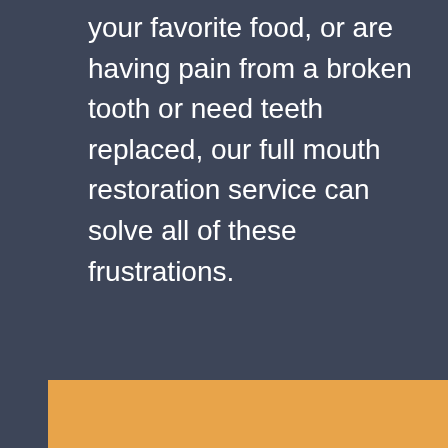your favorite food, or are having pain from a broken tooth or need teeth replaced, our full mouth restoration service can solve all of these frustrations.
[Figure (photo): Partial view of an orange/tan colored image or banner at the bottom of the page, likely a dental-related photo or advertisement panel.]